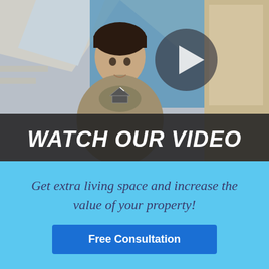[Figure (screenshot): Video thumbnail showing a young man in a grey sweater standing in a loft/attic room with blue walls and a skylight. A large circular play button overlay is visible in the upper right area. A dark semi-transparent banner at the bottom reads 'WATCH OUR VIDEO' in large bold white italic text, with a small house logo above it.]
Get extra living space and increase the value of your property!
Free Consultation